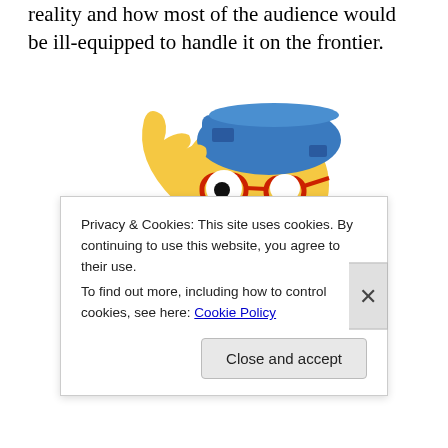reality and how most of the audience would be ill-equipped to handle it on the frontier.
[Figure (illustration): Cartoon illustration of Milhouse Van Houten from The Simpsons, leaning forward with a scared or surprised expression, wearing orange pants, a lavender shirt, blue hat, and red glasses, with one hand raised.]
Privacy & Cookies: This site uses cookies. By continuing to use this website, you agree to their use.
To find out more, including how to control cookies, see here: Cookie Policy

Close and accept